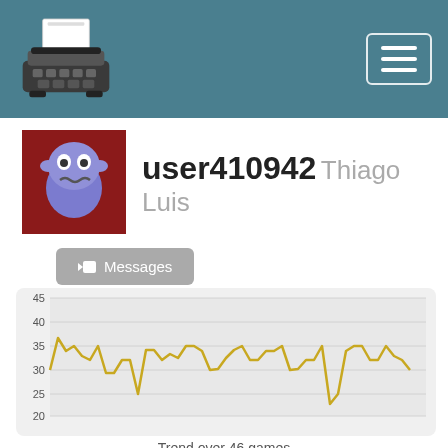[Figure (screenshot): Navigation bar with typewriter logo on the left and hamburger menu button on the right, teal/slate blue background]
[Figure (illustration): User avatar: cartoon ghost/alien character on dark red background]
user410942  Thiago Luis
Messages
[Figure (line-chart): Line chart showing typing speed trend over 46 games, values roughly between 22 and 41, gold/yellow line on light gray background]
Trend over 46 games